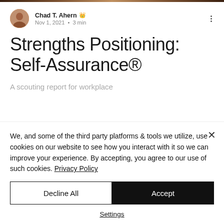Chad T. Ahern 👑 Admin
Nov 1, 2021 · 3 min
Strengths Positioning: Self-Assurance®
A scouting report for workplace
We, and some of the third party platforms & tools we utilize, use cookies on our website to see how you interact with it so we can improve your experience. By accepting, you agree to our use of such cookies. Privacy Policy
Decline All
Accept
Settings